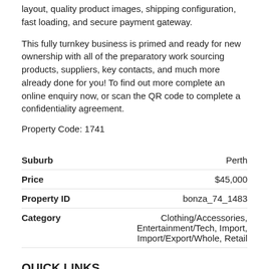layout, quality product images, shipping configuration, fast loading, and secure payment gateway.
This fully turnkey business is primed and ready for new ownership with all of the preparatory work sourcing products, suppliers, key contacts, and much more already done for you! To find out more complete an online enquiry now, or scan the QR code to complete a confidentiality agreement.
Property Code: 1741
| Field | Value |
| --- | --- |
| Suburb | Perth |
| Price | $45,000 |
| Property ID | bonza_74_1483 |
| Category | Clothing/Accessories, Entertainment/Tech, Import, Import/Export/Whole, Retail |
QUICK LINKS
Contact Us